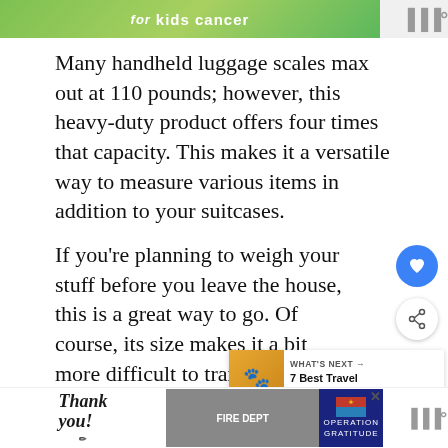[Figure (other): Advertisement banner at top — green background with text 'for kids cancer']
Many handheld luggage scales max out at 110 pounds; however, this heavy-duty product offers four times that capacity. This makes it a versatile way to measure various items in addition to your suitcases.
If you're planning to weigh your stuff before you leave the house, this is a great way to go. Of course, its size makes it a bit more difficult to transport from place to place. There's no doubt about the results, which are displayed on a large digital screen in bright numbers.
[Figure (other): WHAT'S NEXT widget with thumbnail image and text '7 Best Travel Dog Beds in...']
[Figure (other): Advertisement banner at bottom — Operation Gratitude ad with 'Thank you!' text and group photo of firefighters]